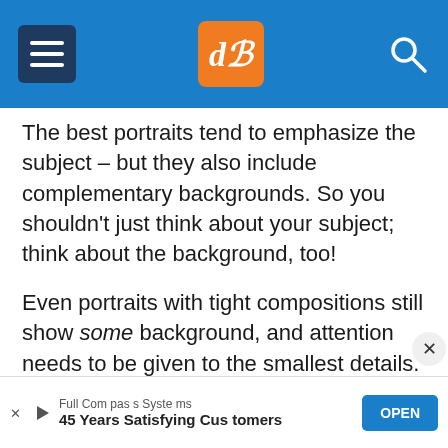dPS navigation header with hamburger menu, dPS logo, and search icon
The best portraits tend to emphasize the subject – but they also include complementary backgrounds. So you shouldn't just think about your subject; think about the background, too!
Even portraits with tight compositions still show some background, and attention needs to be given to the smallest details. So think about your subject and what could complement their look. Might you add a pure white background? A dark
Full Compass Systems — 45 Years Satisfying Customers — OPEN